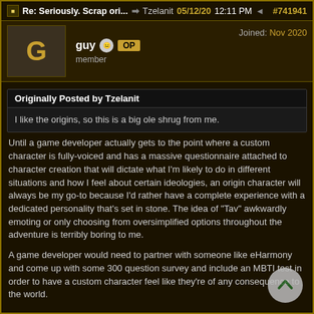Re: Seriously. Scrap ori... → Tzelanit 05/12/20 12:11 PM ◄ #741941
guy OP member Joined: Nov 2020
Originally Posted by Tzelanit
I like the origins, so this is a big ole shrug from me.
Until a game developer actually gets to the point where a custom character is fully-voiced and has a massive questionnaire attached to character creation that will dictate what I'm likely to do in different situations and how I feel about certain ideologies, an origin character will always be my go-to because I'd rather have a complete experience with a dedicated personality that's set in stone. The idea of "Tav" awkwardly emoting or only choosing from oversimplified options throughout the adventure is terribly boring to me.
A game developer would need to partner with someone like eHarmony and come up with some 300 question survey and include an MBTI test in order to have a custom character feel like they're of any consequence to the world.